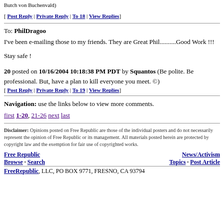Butch von Buchenvald)
[ Post Reply | Private Reply | To 18 | View Replies]
To: PhilDragoo
I've been e-mailing those to my friends. They are Great Phil..........Good Work !!!
Stay safe !
20 posted on 10/16/2004 10:18:38 PM PDT by Squantos (Be polite. Be professional. But, have a plan to kill everyone you meet. ©)
[ Post Reply | Private Reply | To 19 | View Replies]
Navigation: use the links below to view more comments.
first 1-20, 21-26 next last
Disclaimer: Opinions posted on Free Republic are those of the individual posters and do not necessarily represent the opinion of Free Republic or its management. All materials posted herein are protected by copyright law and the exemption for fair use of copyrighted works.
Free Republic  News/Activism  Browse · Search  Topics · Post Article  FreeRepublic, LLC, PO BOX 9771, FRESNO, CA 93794